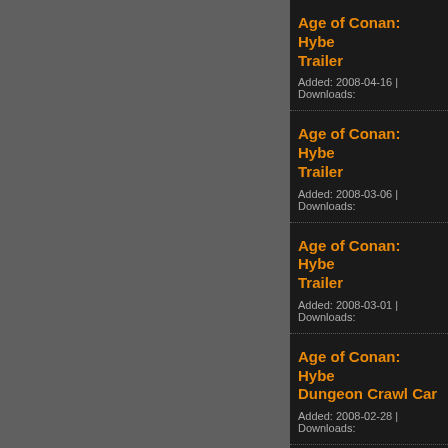Age of Conan: Hyborian Adventures - Trailer
Added: 2008-04-16 | Downloads:
Age of Conan: Hyborian Adventures - Trailer
Added: 2008-03-06 | Downloads:
Age of Conan: Hyborian Adventures - Trailer
Added: 2008-03-01 | Downloads:
Age of Conan: Hyborian Adventures - Dungeon Crawl Cam
Added: 2008-02-28 | Downloads:
Age of Conan: Hyborian Adventures - Dungeon Crawl Cam
Added: 2008-02-28 | Downloads:
Age of Conan: Hyborian Adventures - Dungeon Crawl Cam
Added: 2008-02-28 | Downloads: